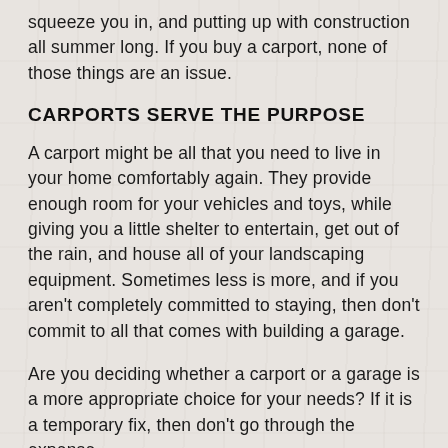squeeze you in, and putting up with construction all summer long. If you buy a carport, none of those things are an issue.
CARPORTS SERVE THE PURPOSE
A carport might be all that you need to live in your home comfortably again. They provide enough room for your vehicles and toys, while giving you a little shelter to entertain, get out of the rain, and house all of your landscaping equipment. Sometimes less is more, and if you aren't completely committed to staying, then don't commit to all that comes with building a garage.
Are you deciding whether a carport or a garage is a more appropriate choice for your needs? If it is a temporary fix, then don't go through the expense,